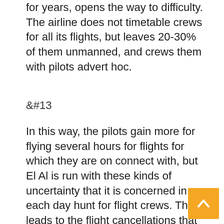for years, opens the way to difficulty. The airline does not timetable crews for all its flights, but leaves 20-30% of them unmanned, and crews them with pilots advert hoc.
&#13
In this way, the pilots gain more for flying several hours for flights for which they are on connect with, but El Al is run with these kinds of uncertainty that it is concerned in a each day hunt for flight crews. This leads to the flight cancellations that passengers are at the moment enduring once more and once again. The court docket made a decision that it would not problem an injunction, and that the sides need to interact in intense negotiations for two weeks, reporting to the courtroom on progress each 3 times.